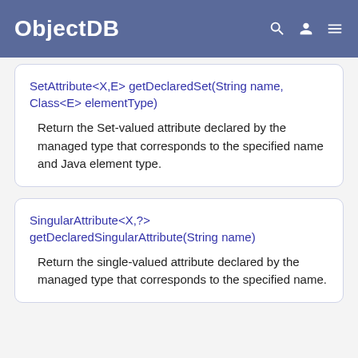ObjectDB
SetAttribute<X,E> getDeclaredSet(String name, Class<E> elementType)
Return the Set-valued attribute declared by the managed type that corresponds to the specified name and Java element type.
SingularAttribute<X,?> getDeclaredSingularAttribute(String name)
Return the single-valued attribute declared by the managed type that corresponds to the specified name.